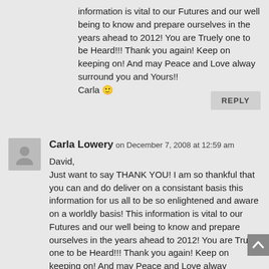information is vital to our Futures and our well being to know and prepare ourselves in the years ahead to 2012! You are Truely one to be Heard!!! Thank you again! Keep on keeping on! And may Peace and Love alway surround you and Yours!!
Carla 🙂
REPLY
Carla Lowery on December 7, 2008 at 12:59 am
David,
Just want to say THANK YOU! I am so thankful that you can and do deliver on a consistant basis this information for us all to be so enlightened and aware on a worldly basis! This information is vital to our Futures and our well being to know and prepare ourselves in the years ahead to 2012! You are Truely one to be Heard!!! Thank you again! Keep on keeping on! And may Peace and Love alway surround you and Yours!!